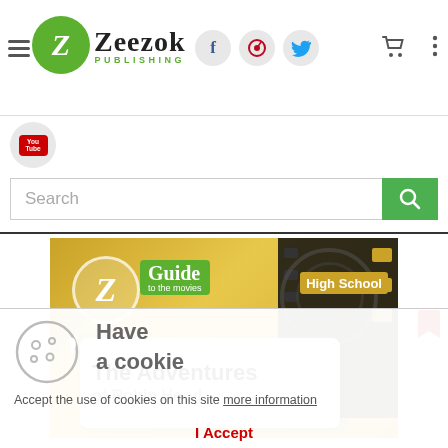[Figure (logo): Zeezok Publishing logo with green Z circle and social media icons (Facebook, Pinterest, Twitter), shopping cart and menu]
[Figure (logo): YouTube icon in a circle]
Search
[Figure (photo): Z Guide to the Movies - High School book cover showing The Adventures of Robin Hood]
Have a cookie
Accept the use of cookies on this site more information
I Accept